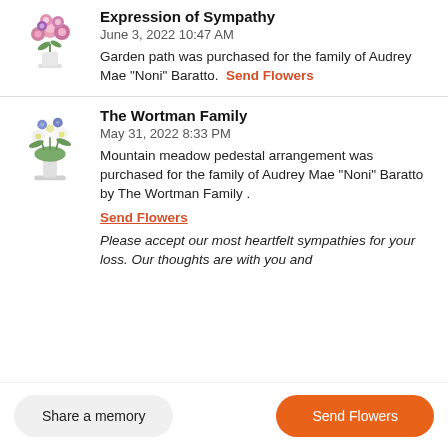[Figure (photo): Flower bouquet arrangement photo, pink and purple flowers in vase on white pedestal]
Expression of Sympathy
June 3, 2022 10:47 AM
Garden path was purchased for the family of Audrey Mae "Noni" Baratto.  Send Flowers
[Figure (photo): White floral pedestal arrangement with blue and white flowers]
The Wortman Family
May 31, 2022 8:33 PM
Mountain meadow pedestal arrangement was purchased for the family of Audrey Mae "Noni" Baratto by The Wortman Family .  Send Flowers
Please accept our most heartfelt sympathies for your loss. Our thoughts are with you and
Share a memory
Send Flowers